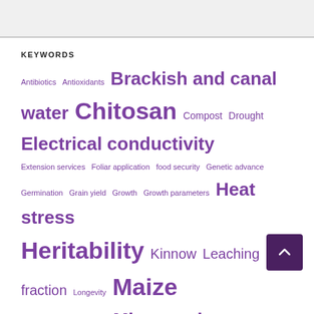KEYWORDS
Antibiotics Antioxidants Brackish and canal water Chitosan Compost Drought Electrical conductivity Extension services Foliar application food security Genetic advance Germination Grain yield Growth Growth parameters Heat stress Heritability Kinnow Leaching fraction Longevity Maize Mango Medicinal Plants Micronutrients Mungbean Musambi Pakistan Peach Photosynthesis Postharvest Productivity Protein content Quality Rootstocks Salicylic acid Salinity Sorghum Sunflower Vegetative growth Water productivity Weed dynamics Weeds Wheat Wheat productivity Yield
VISITORS' MAP